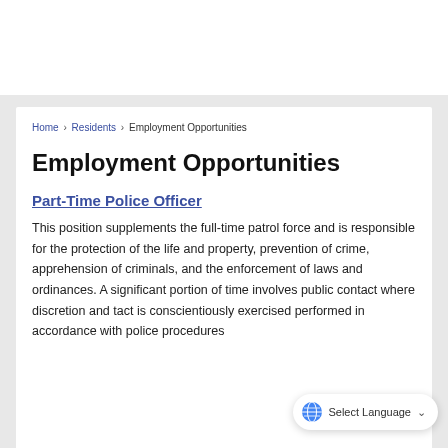Home › Residents › Employment Opportunities
Employment Opportunities
Part-Time Police Officer
This position supplements the full-time patrol force and is responsible for the protection of the life and property, prevention of crime, apprehension of criminals, and the enforcement of laws and ordinances. A significant portion of time involves public contact where discretion and tact is conscientiously exercised performed in accordance with police procedures